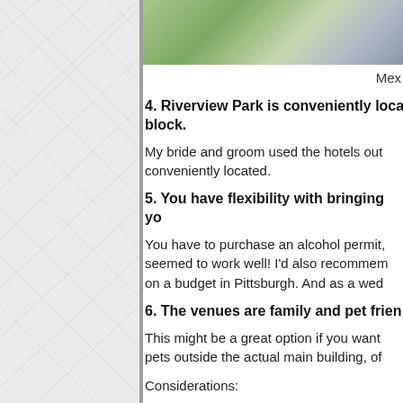[Figure (photo): Outdoor photo strip at top of right column showing green foliage and light background]
Mex
4. Riverview Park is conveniently loca… block.
My bride and groom used the hotels out… conveniently located.
5. You have flexibility with bringing yo…
You have to purchase an alcohol permit,… seemed to work well! I'd also recommem… on a budget in Pittsburgh. And as a wed…
6. The venues are family and pet frien…
This might be a great option if you want… pets outside the actual main building, of…
Considerations:
1. If you are planning a wedding for a ga… town and if you have many guests, the p…